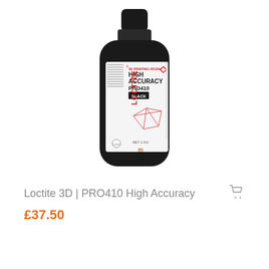[Figure (photo): Loctite 3D PRO410 High Accuracy Black 3D printing resin bottle, 1 KG, black cylindrical bottle with white product label showing the Loctite logo, product name, and Henkel branding.]
Loctite 3D | PRO410 High Accuracy
£37.50